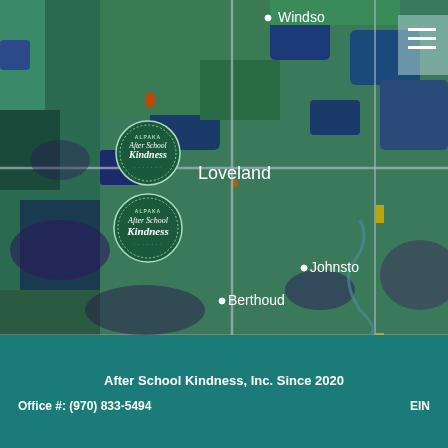[Figure (map): Geographic map showing Loveland, Berthoud, Windsor, and Johnstown areas in Colorado with After School Kindness logo markers on the map. The map shows terrain in shades of green, blue, and dark purple representing land use. Two circular After School Kindness logo badges are visible near Loveland.]
After School Kindness, Inc. Since 2020
Office #: (970) 833-5494
EIN